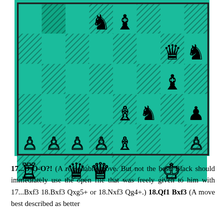[Figure (other): Chess board position showing a mid-game position with white and black pieces. Partial board view (5 rows visible). Teal/green and hatched dark squares. Black pieces include: knight and bishop on row 1 (top), queen and knight on row 2, bishop on row 3, bishop and knight and pawn on row 4. White pieces include: pawns on row 5, rook queen-side, queen and king positions visible.]
17...O-O-O?! (A reasonable move. But not the best. Black should immediately use the open file that was freely given to him with 17...Bxf3 18.Bxf3 Qxg5+ or 18.Nxf3 Qg4+.) 18.Qf1 Bxf3 (A move best described as better